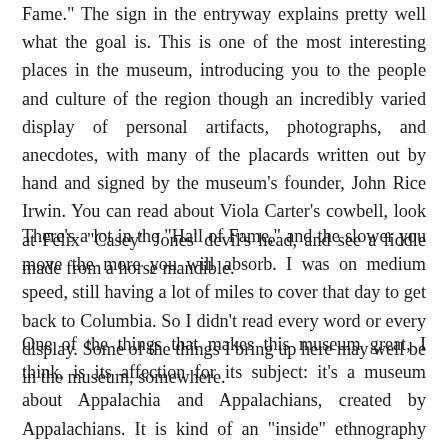Fame." The sign in the entryway explains pretty well what the goal is. This is one of the most interesting places in the museum, introducing you to the people and culture of the region though an incredibly varied display of personal artifacts, photographs, and anecdotes, with many of the placards written out by hand and signed by the museum's founder, John Rice Irwin. You can read about Viola Carter's cowbell, look at Felix "Casey" Jones' devil's head, and see a fiddle made from a horse mandible.
There's a lot in the "Hall of Fame," and the slower you move the more you will absorb. I was on medium speed, still having a lot of miles to cover that day to get back to Columbia. So I didn't read every word or every display. Some of the things I bring up here may well be in the museum, somewhere.
One of the things that makes this museum great, I think, is its affection for its subject: it's a museum about Appalachia and Appalachians, created by Appalachians. It is kind of an "inside" ethnography that embraces the distinctiveness of Appalachia, communicating and often celebrating characteristics that outsiders might see as strange, even embarrassing or depressing. The museum doesn't try to make an